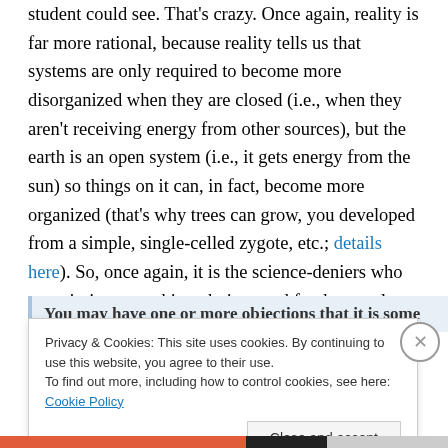student could see. That's crazy. Once again, reality is far more rational, because reality tells us that systems are only required to become more disorganized when they are closed (i.e., when they aren't receiving energy from other sources), but the earth is an open system (i.e., it gets energy from the sun) so things on it can, in fact, become more organized (that's why trees can grow, you developed from a simple, single-celled zygote, etc.; details here). So, once again, it is the science-deniers who are missing something obvious and fundamental, not the scientists.
You may have one or more objections that it is some...
Privacy & Cookies: This site uses cookies. By continuing to use this website, you agree to their use.
To find out more, including how to control cookies, see here: Cookie Policy
Close and accept